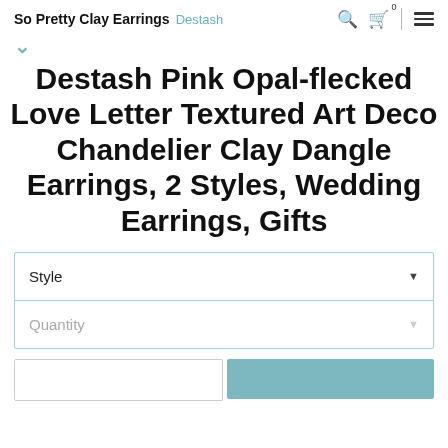So Pretty Clay Earrings  Destash
Destash Pink Opal-flecked Love Letter Textured Art Deco Chandelier Clay Dangle Earrings, 2 Styles, Wedding Earrings, Gifts
Style
Quantity